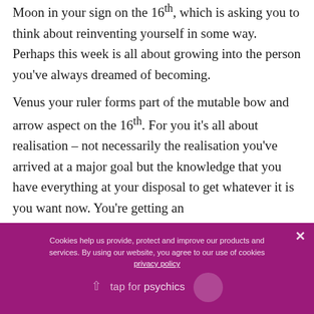Moon in your sign on the 16th, which is asking you to think about reinventing yourself in some way. Perhaps this week is all about growing into the person you've always dreamed of becoming.

Venus your ruler forms part of the mutable bow and arrow aspect on the 16th. For you it's all about realisation – not necessarily the realisation you've arrived at a major goal but the knowledge that you have everything at your disposal to get whatever it is you want now. You're getting an ad...
Cookies help us provide, protect and improve our products and services. By using our website, you agree to our use of cookies privacy policy
tap for psychics